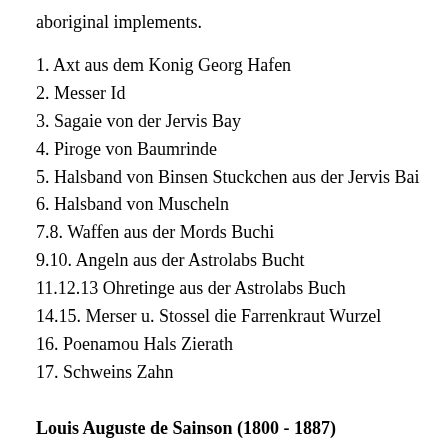aboriginal implements.
1. Axt aus dem Konig Georg Hafen
2. Messer Id
3. Sagaie von der Jervis Bay
4. Piroge von Baumrinde
5. Halsband von Binsen Stuckchen aus der Jervis Bai
6. Halsband von Muscheln
7.8. Waffen aus der Mords Buchi
9.10. Angeln aus der Astrolabs Bucht
11.12.13 Ohretinge aus der Astrolabs Buch
14.15. Merser u. Stossel die Farrenkraut Wurzel
16. Poenamou Hals Zierath
17. Schweins Zahn
Louis Auguste de Sainson (1800 - 1887)